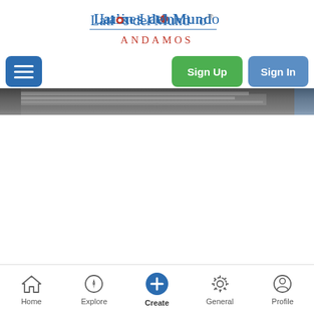[Figure (logo): Latinos del Mundo Andamos logo — stylized text with red dot in the 'o' of Latinos, blue and red typography, underline beneath main text, subtitle 'ANDAMOS' in red below]
[Figure (screenshot): Navigation bar with hamburger menu button (blue, left), Sign Up button (green, center-right), Sign In button (blue, right)]
[Figure (photo): Partial photo strip showing what appears to be books or papers on a surface with a blue object on the right edge]
[Figure (screenshot): Bottom tab navigation bar with five items: Home (house icon), Explore (compass icon), Create (blue circle with plus icon), General (gear icon), Profile (person icon)]